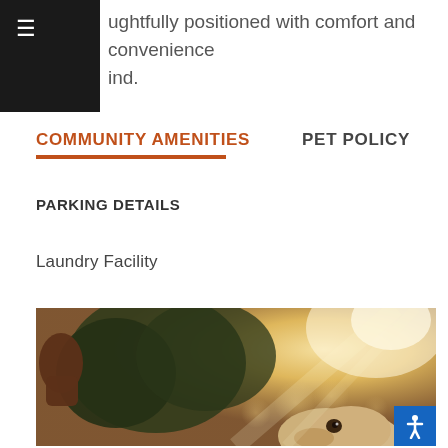ughtfully positioned with comfort and convenience in mind.
COMMUNITY AMENITIES
PET POLICY
PARKING DETAILS
Laundry Facility
[Figure (photo): Close-up photo of a dog looking up toward a human fist/hand, warm golden bokeh background with trees, outdoor sunny setting.]